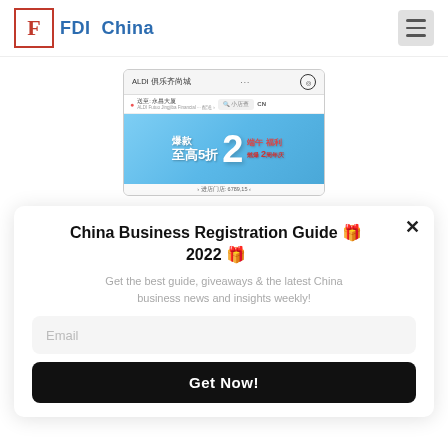FDI China
[Figure (screenshot): ALDI Chinese app screenshot showing a promotional banner with text in Chinese characters, featuring blue background and promotional text about discounts]
China Business Registration Guide 🎁 2022 🎁
Get the best guide, giveaways & the latest China business news and insights weekly!
Email
Get Now!